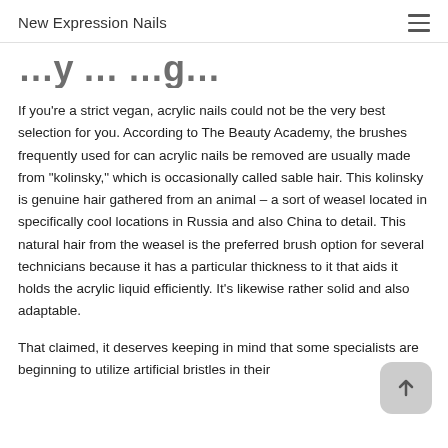New Expression Nails
…y…g…
If you're a strict vegan, acrylic nails could not be the very best selection for you. According to The Beauty Academy, the brushes frequently used for can acrylic nails be removed are usually made from "kolinsky," which is occasionally called sable hair. This kolinsky is genuine hair gathered from an animal – a sort of weasel located in specifically cool locations in Russia and also China to detail. This natural hair from the weasel is the preferred brush option for several technicians because it has a particular thickness to it that aids it holds the acrylic liquid efficiently. It's likewise rather solid and also adaptable.
That claimed, it deserves keeping in mind that some specialists are beginning to utilize artificial bristles in their